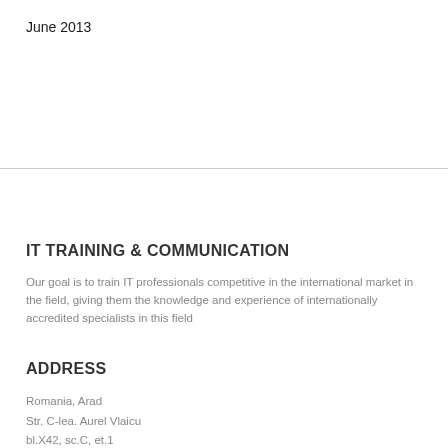June 2013
IT TRAINING & COMMUNICATION
Our goal is to train IT professionals competitive in the international market in the field, giving them the knowledge and experience of internationally accredited specialists in this field
ADDRESS
Romania, Arad
Str. C-lea. Aurel Vlaicu
bl.X42, sc.C, et.1